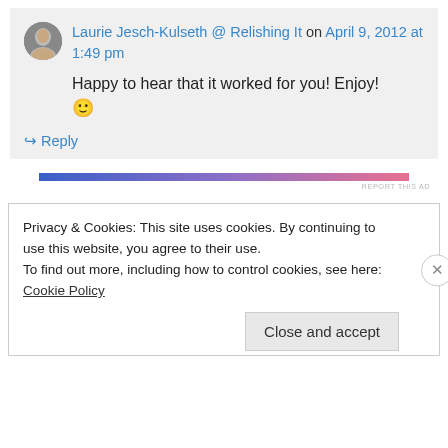Laurie Jesch-Kulseth @ Relishing It on April 9, 2012 at 1:49 pm
Happy to hear that it worked for you! Enjoy! 🙂
↳ Reply
[Figure (other): Gradient ad bar from blue to pink with REPORT THIS AD text]
Privacy & Cookies: This site uses cookies. By continuing to use this website, you agree to their use.
To find out more, including how to control cookies, see here: Cookie Policy
Close and accept